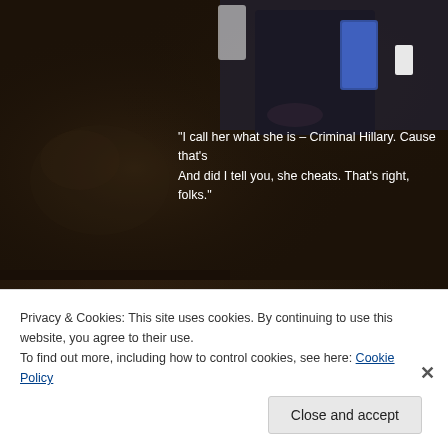[Figure (photo): Dark textured background with a partial photo at top showing a person in a dark suit with a blue tie, seated, against a dark background]
"I call her what she is – Criminal Hillary. Cause that's And did I tell you, she cheats. That's right, folks."
Share this:
Privacy & Cookies: This site uses cookies. By continuing to use this website, you agree to their use. To find out more, including how to control cookies, see here: Cookie Policy
Close and accept